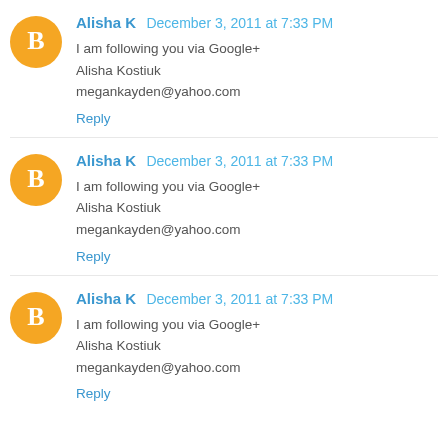Alisha K  December 3, 2011 at 7:33 PM
I am following you via Google+
Alisha Kostiuk
megankayden@yahoo.com
Reply
Alisha K  December 3, 2011 at 7:33 PM
I am following you via Google+
Alisha Kostiuk
megankayden@yahoo.com
Reply
Alisha K  December 3, 2011 at 7:33 PM
I am following you via Google+
Alisha Kostiuk
megankayden@yahoo.com
Reply